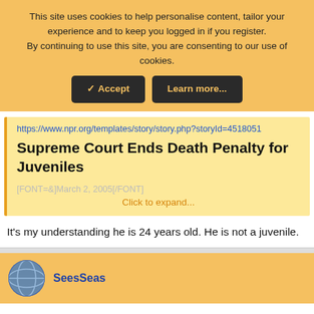This site uses cookies to help personalise content, tailor your experience and to keep you logged in if you register. By continuing to use this site, you are consenting to our use of cookies.
✓ Accept | Learn more...
https://www.npr.org/templates/story/story.php?storyId=4518051
Supreme Court Ends Death Penalty for Juveniles
[FONT=&]March 2, 2005[/FONT]
Click to expand...
It's my understanding he is 24 years old. He is not a juvenile.
SeesSeas